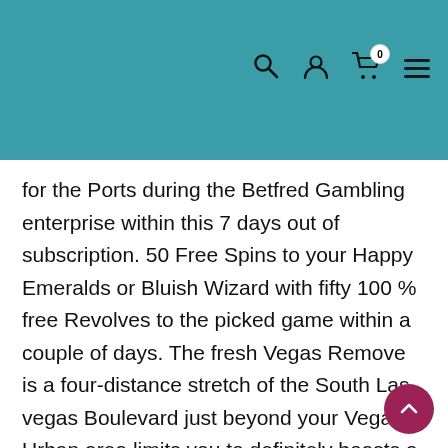Navigation header with search, user, cart (0), and menu icons
for the Ports during the Betfred Gambling enterprise within this 7 days out of subscription. 50 Free Spins to your Happy Emeralds or Bluish Wizard with fifty 100 % free Revolves to the picked game within a couple of days. The fresh Vegas Remove is a four-distance stretch of the South Las vegas Boulevard just beyond your Vegas Urban area limits you to definitely boasts a big assortment of casinos and hotels. Gamble lot of Crawl solitaire or make your very own